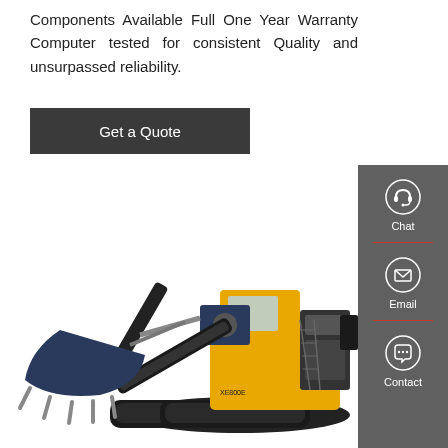Components Available Full One Year Warranty Computer tested for consistent Quality and unsurpassed reliability.
Get a Quote
[Figure (photo): Large yellow and dark blue/black mining excavator/shovel machine on white background, with massive bucket attachment and tracks.]
[Figure (infographic): Sidebar with grey background containing three contact options: Chat (headset icon), Email (envelope icon), Contact (speech bubble icon), separated by red horizontal dividers.]